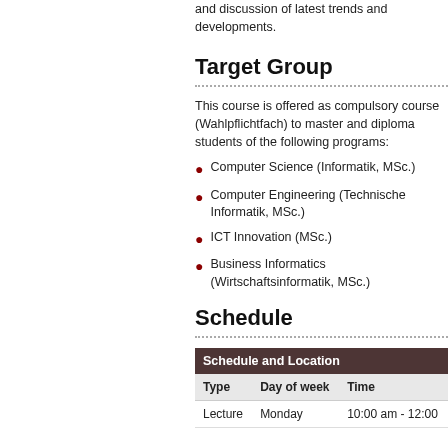and discussion of latest trends and developments.
Target Group
This course is offered as compulsory course (Wahlpflichtfach) to master and diploma students of the following programs:
Computer Science (Informatik, MSc.)
Computer Engineering (Technische Informatik, MSc.)
ICT Innovation (MSc.)
Business Informatics (Wirtschaftsinformatik, MSc.)
Schedule
| Type | Day of week | Time |
| --- | --- | --- |
| Lecture | Monday | 10:00 am - 12:00 |